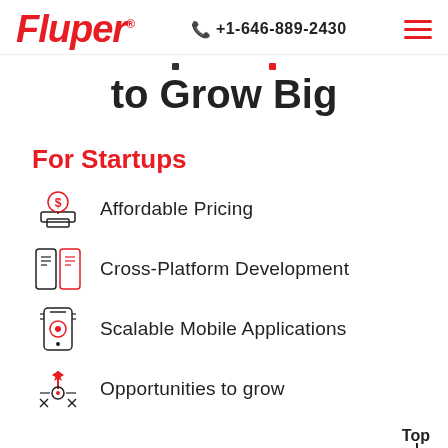Fluper® +1-646-889-2430
to Grow Big
For Startups
Affordable Pricing
Cross-Platform Development
Scalable Mobile Applications
Opportunities to grow
Top